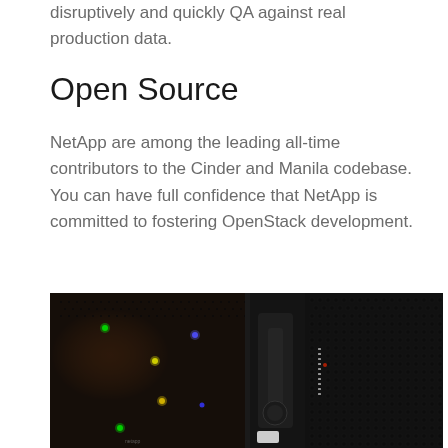disruptively and quickly QA against real production data.
Open Source
NetApp are among the leading all-time contributors to the Cinder and Manila codebase. You can have full confidence that NetApp is committed to fostering OpenStack development.
[Figure (photo): Close-up photograph of server rack equipment with blinking LED indicator lights (green, yellow, blue) visible through a perforated metal front panel, alongside drive bays and server components in a dark data center environment.]